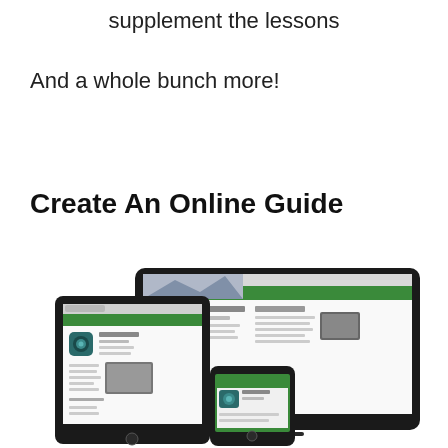supplement the lessons
And a whole bunch more!
Create An Online Guide
[Figure (screenshot): Screenshot of an online guide website displayed across three devices: a tablet (iPad), a laptop/desktop monitor, and a smartphone. The website appears to be a navigation/tutorial guide with a green header bar, app icon, and instructional content sections.]